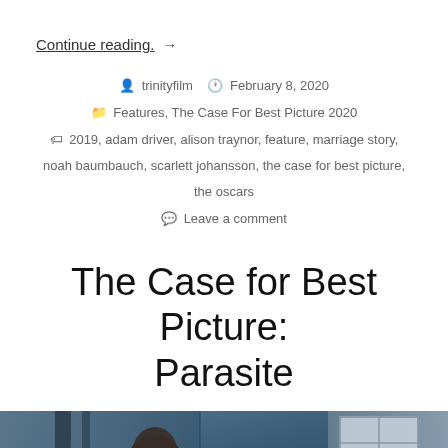Continue reading. →
trinityfilm  February 8, 2020  Features, The Case For Best Picture 2020  2019, adam driver, alison traynor, feature, marriage story, noah baumbauch, scarlett johansson, the case for best picture, the oscars  Leave a comment
The Case for Best Picture: Parasite
[Figure (photo): A dark cinematic still from the film Parasite showing a figure viewed through glass or a window, with blue-gray tones]